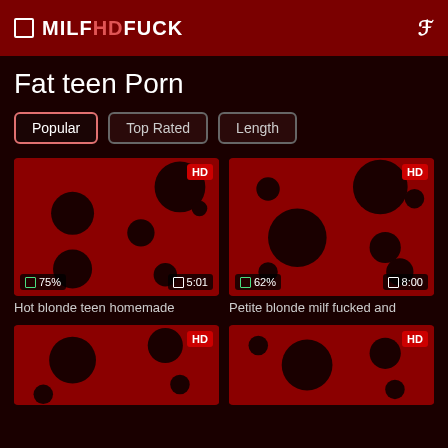MILF HD FUCK
Fat teen Porn
Popular
Top Rated
Length
[Figure (photo): Video thumbnail with dark red background and black circular blobs, HD badge, 75% rating, 5:01 duration]
Hot blonde teen homemade
[Figure (photo): Video thumbnail with dark red background and black circular blobs, HD badge, 62% rating, 8:00 duration]
Petite blonde milf fucked and
[Figure (photo): Video thumbnail with dark red background and black circular blobs, HD badge, partially visible]
[Figure (photo): Video thumbnail with dark red background and black circular blobs, HD badge, partially visible]